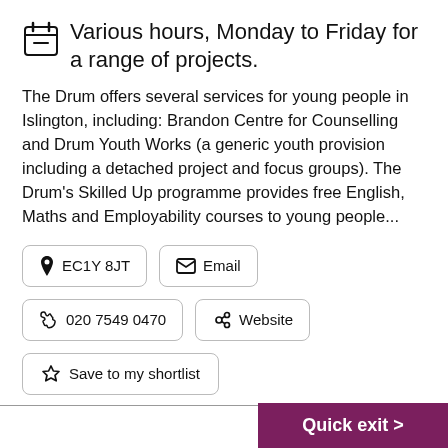Various hours, Monday to Friday for a range of projects.
The Drum offers several services for young people in Islington, including: Brandon Centre for Counselling and Drum Youth Works (a generic youth provision including a detached project and focus groups). The Drum’s Skilled Up programme provides free English, Maths and Employability courses to young people...
EC1Y 8JT
Email
020 7549 0470
Website
Save to my shortlist
Quick exit >